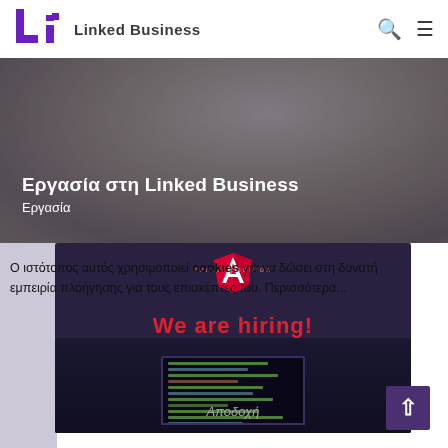Linked Business
Εργασία στη Linked Business
Εργασία
[Figure (screenshot): We are hiring screenshot with Angular logo, laptop with code, and cookie consent overlay in Greek]
Ο ιστότοπος αυτός χρησιμοποιεί cookies για να δώσει στη δυνατή εμπειρία πλοήγησης για τους επισκέπτες του. Περισσότερα...
Αποδοχή